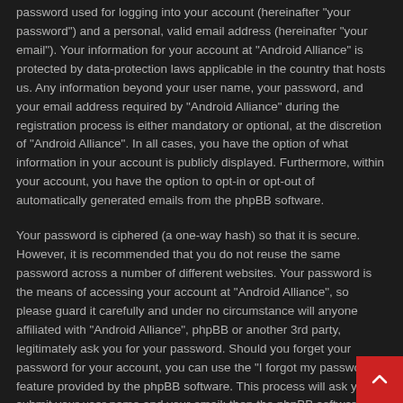password used for logging into your account (hereinafter "your password") and a personal, valid email address (hereinafter "your email"). Your information for your account at "Android Alliance" is protected by data-protection laws applicable in the country that hosts us. Any information beyond your user name, your password, and your email address required by "Android Alliance" during the registration process is either mandatory or optional, at the discretion of "Android Alliance". In all cases, you have the option of what information in your account is publicly displayed. Furthermore, within your account, you have the option to opt-in or opt-out of automatically generated emails from the phpBB software.
Your password is ciphered (a one-way hash) so that it is secure. However, it is recommended that you do not reuse the same password across a number of different websites. Your password is the means of accessing your account at "Android Alliance", so please guard it carefully and under no circumstance will anyone affiliated with "Android Alliance", phpBB or another 3rd party, legitimately ask you for your password. Should you forget your password for your account, you can use the "I forgot my password" feature provided by the phpBB software. This process will ask you to submit your user name and your email; then the phpBB software will generate a new password to reclaim your account.